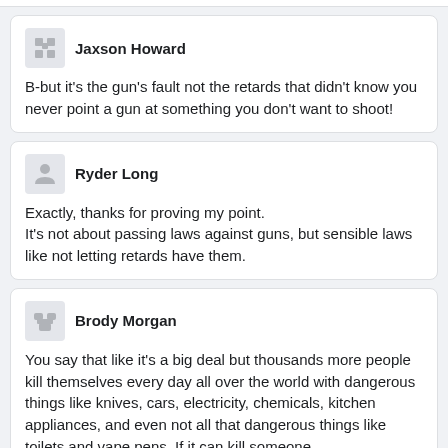Jaxson Howard
B-but it's the gun's fault not the retards that didn't know you never point a gun at something you don't want to shoot!
Ryder Long
Exactly, thanks for proving my point.
It's not about passing laws against guns, but sensible laws like not letting retards have them.
Brody Morgan
You say that like it's a big deal but thousands more people kill themselves every day all over the world with dangerous things like knives, cars, electricity, chemicals, kitchen appliances, and even not all that dangerous things like toilets and vape pens. If it can kill someone,